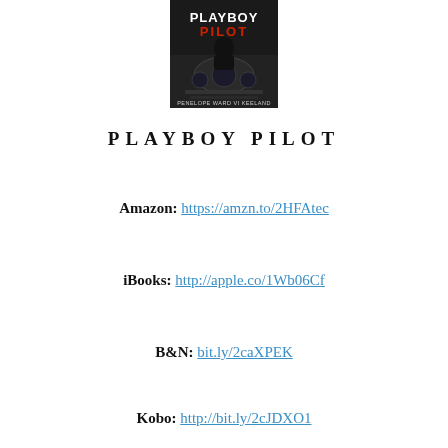[Figure (illustration): Book cover for 'Playboy Pilot' by Penelope Ward and Vi Keeland. Dark background with cockpit imagery, title text 'PLAYBOY PILOT' in bold white and red lettering, authors' names at bottom.]
PLAYBOY PILOT
Amazon: https://amzn.to/2HFAtec
iBooks: http://apple.co/1Wb06Cf
B&N: bit.ly/2caXPEK
Kobo: http://bit.ly/2cJDXO1